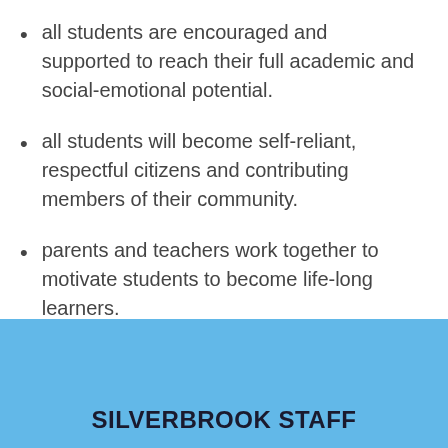all students are encouraged and supported to reach their full academic and social-emotional potential.
all students will become self-reliant, respectful citizens and contributing members of their community.
parents and teachers work together to motivate students to become life-long learners.
SILVERBROOK STAFF